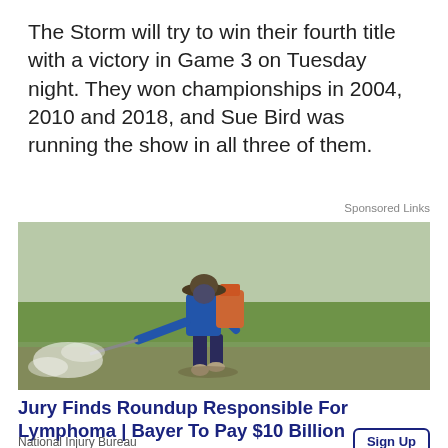The Storm will try to win their fourth title with a victory in Game 3 on Tuesday night. They won championships in 2004, 2010 and 2018, and Sue Bird was running the show in all three of them.
Sponsored Links
[Figure (photo): A farmer wearing a hat and blue long-sleeve shirt spraying pesticide with a backpack sprayer in a green field.]
Jury Finds Roundup Responsible For Lymphoma | Bayer To Pay $10 Billion
National Injury Bureau
Sign Up